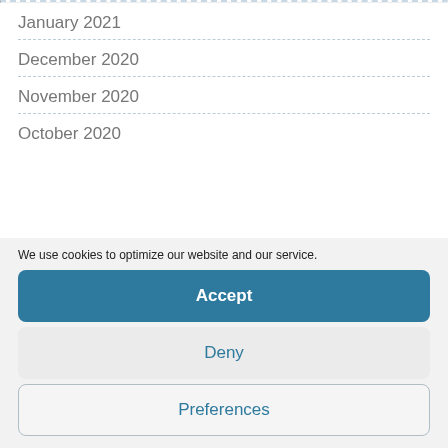January 2021
December 2020
November 2020
October 2020
We use cookies to optimize our website and our service.
Accept
Deny
Preferences